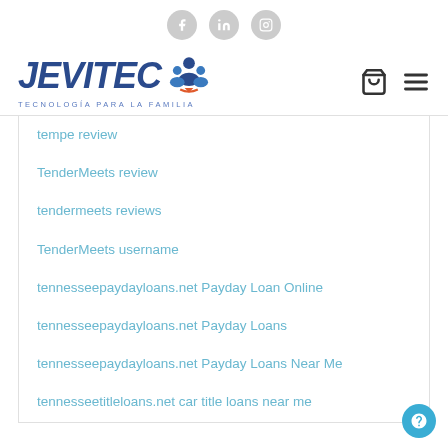[Figure (logo): Social media icons: Facebook, LinkedIn, Instagram in gray circles]
[Figure (logo): JEVITEC logo with tagline TECNOLOGÍA PARA LA FAMILIA and cart/menu icons]
tempe review
TenderMeets review
tendermeets reviews
TenderMeets username
tennesseepaydayloans.net Payday Loan Online
tennesseepaydayloans.net Payday Loans
tennesseepaydayloans.net Payday Loans Near Me
tennesseetitleloans.net car title loans near me